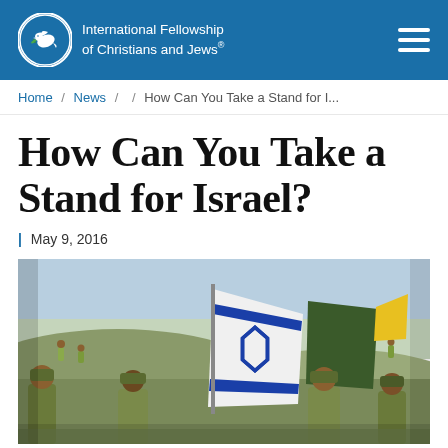International Fellowship of Christians and Jews
Home / News / / How Can You Take a Stand for I...
How Can You Take a Stand for Israel?
| May 9, 2016
[Figure (photo): Israeli soldiers in military uniform carrying the Israeli flag (blue Star of David on white) and other military flags on a hillside with a grassy landscape in the background.]